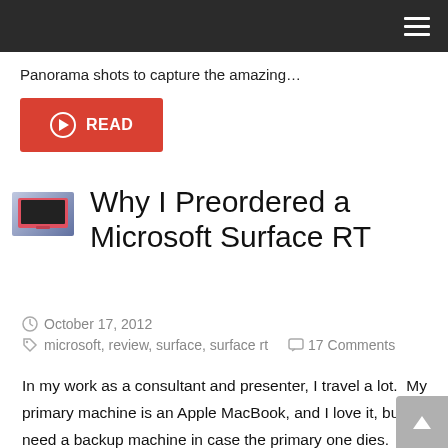Panorama shots to capture the amazing…
READ
Why I Preordered a Microsoft Surface RT
October 17, 2012
microsoft, review, surface, surface rt   17 Comments
In my work as a consultant and presenter, I travel a lot.  My primary machine is an Apple MacBook, and I love it, but I need a backup machine in case the primary one dies.  My presentations (and consulting gigs) must go on – but I hate traveling with additional weight.  So what's a guy to do? For the past few years, my backup machine has been a first-generation